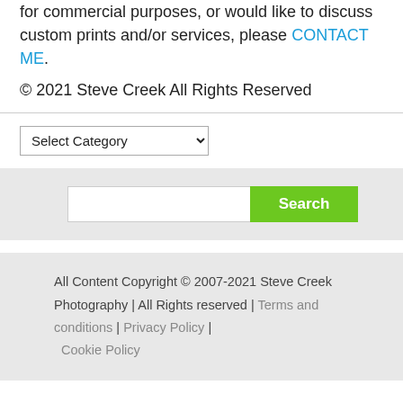for commercial purposes, or would like to discuss custom prints and/or services, please CONTACT ME.
© 2021 Steve Creek All Rights Reserved
Select Category (dropdown)
Search (search box with button)
All Content Copyright © 2007-2021 Steve Creek Photography | All Rights reserved | Terms and conditions | Privacy Policy | Cookie Policy